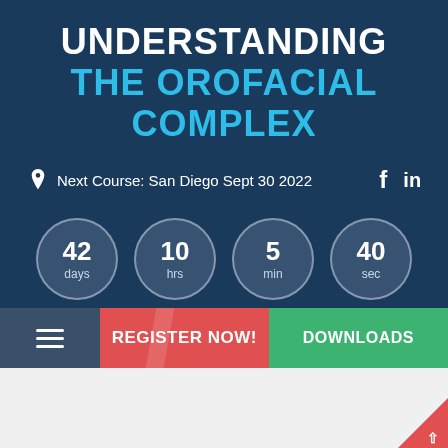UNDERSTANDING THE OROFACIAL COMPLEX
Next Course: San Diego Sept 30 2022
[Figure (infographic): Countdown timer showing 42 days, 10 hrs, 5 min, 40 sec in circular badges]
REGISTER NOW!
DOWNLOADS